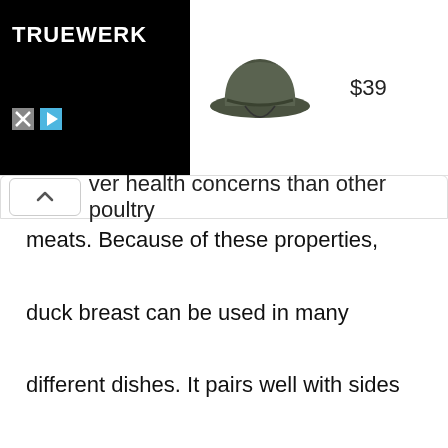[Figure (screenshot): Advertisement banner for TRUEWERK brand showing a dark olive bucket hat with price $39. Black box on left with TRUEWERK logo in white, hat image in center, price on right.]
ver health concerns than other poultry meats. Because of these properties, duck breast can be used in many different dishes. It pairs well with sides like spinach, asparagus, and quinoa. Duck breast is also great on top of tart citrus fruit salads- it has the same kind of natural fat content as oranges and grapefruit.